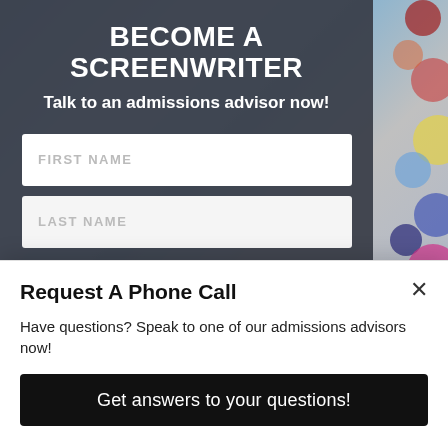[Figure (screenshot): Background photo of bokeh lights (colorful blurred circles: red, pink, yellow, blue, magenta) on right side, with a blurred blue/grey sky on left, serving as background for the 'Become a Screenwriter' form page.]
BECOME A SCREENWRITER
Talk to an admissions advisor now!
FIRST NAME
LAST NAME
Request A Phone Call
Have questions? Speak to one of our admissions advisors now!
Get answers to your questions!